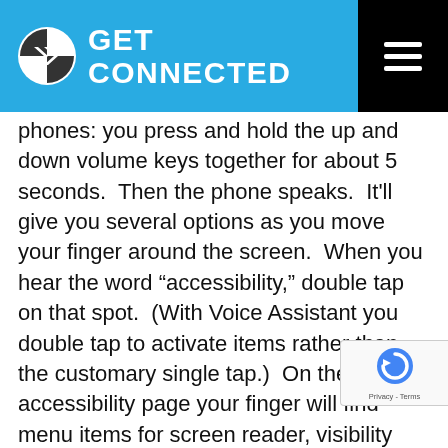GET CONNECTED
phones: you press and hold the up and down volume keys together for about 5 seconds.  Then the phone speaks.  It'll give you several options as you move your finger around the screen.  When you hear the word “accessibility,” double tap on that spot.  (With Voice Assistant you double tap to activate items rather than the customary single tap.)  On the accessibility page your finger will find menu items for screen reader, visibility enhancements, hearing enhancements, interaction and dexterity, and advanced settings.  Turn on or off what makes the phone easier for you to use, including Voice Assistant.